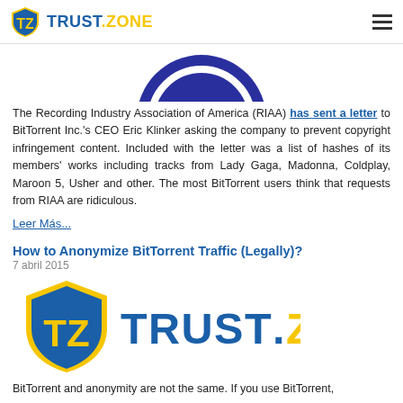TRUST.ZONE
[Figure (logo): Partial circular blue badge/seal visible at top center of page]
The Recording Industry Association of America (RIAA) has sent a letter to BitTorrent Inc.'s CEO Eric Klinker asking the company to prevent copyright infringement content. Included with the letter was a list of hashes of its members' works including tracks from Lady Gaga, Madonna, Coldplay, Maroon 5, Usher and other. The most BitTorrent users think that requests from RIAA are ridiculous.
Leer Más...
How to Anonymize BitTorrent Traffic (Legally)?
7 abril 2015
[Figure (logo): Trust.Zone large logo with shield icon on left and TRUST.ZONE text on right in blue and yellow]
BitTorrent and anonymity are not the same. If you use BitTorrent,